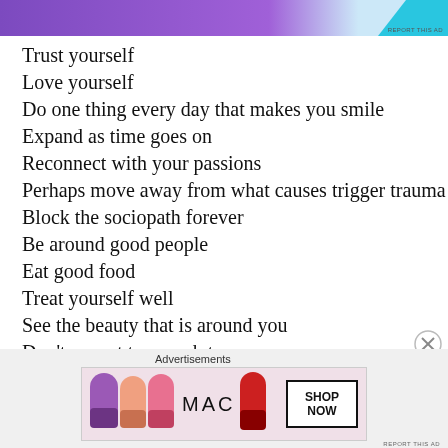[Figure (other): Purple and cyan advertisement banner at top of page with text partially visible]
Trust yourself
Love yourself
Do one thing every day that makes you smile
Expand as time goes on
Reconnect with your passions
Perhaps move away from what causes trigger trauma
Block the sociopath forever
Be around good people
Eat good food
Treat yourself well
See the beauty that is around you
Don't expect too much too soon
Stay with the present. ONE day at a time
[Figure (other): MAC cosmetics advertisement showing colorful lipsticks with SHOP NOW button]